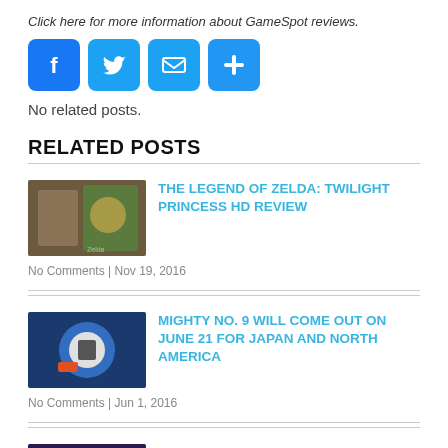Click here for more information about GameSpot reviews.
[Figure (infographic): Four social sharing icon buttons: Facebook (blue F), Twitter (blue bird), Email (blue envelope), Plus/share (blue plus sign)]
No related posts.
RELATED POSTS
THE LEGEND OF ZELDA: TWILIGHT PRINCESS HD REVIEW
No Comments | Nov 19, 2016
MIGHTY NO. 9 WILL COME OUT ON JUNE 21 FOR JAPAN AND NORTH AMERICA
No Comments | Jun 1, 2016
RUNBOW REVIEW
No Comments | Nov 19, 2016
TOKYO MIRAGE SESSIONS #FE REVIEW